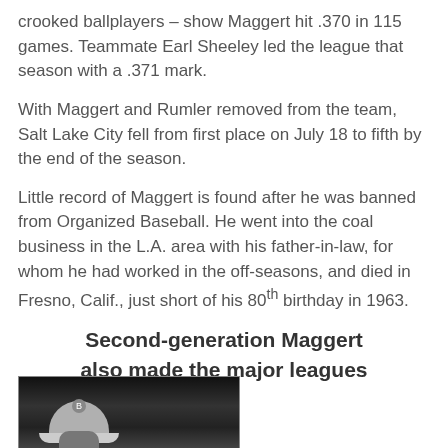crooked ballplayers – show Maggert hit .370 in 115 games. Teammate Earl Sheeley led the league that season with a .371 mark.
With Maggert and Rumler removed from the team, Salt Lake City fell from first place on July 18 to fifth by the end of the season.
Little record of Maggert is found after he was banned from Organized Baseball. He went into the coal business in the L.A. area with his father-in-law, for whom he had worked in the off-seasons, and died in Fresno, Calif., just short of his 80th birthday in 1963.
Second-generation Maggert also made the major leagues
[Figure (photo): Black and white photo of a person wearing a baseball cap with the letter B, partially visible from the shoulders up]